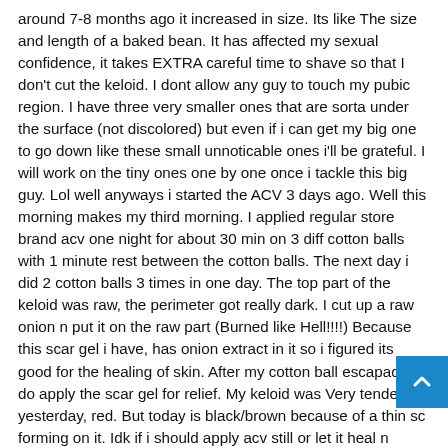around 7-8 months ago it increased in size. Its like The size and length of a baked bean. It has affected my sexual confidence, it takes EXTRA careful time to shave so that I don't cut the keloid. I dont allow any guy to touch my pubic region. I have three very smaller ones that are sorta under the surface (not discolored) but even if i can get my big one to go down like these small unnoticable ones i'll be grateful. I will work on the tiny ones one by one once i tackle this big guy. Lol well anyways i started the ACV 3 days ago. Well this morning makes my third morning. I applied regular store brand acv one night for about 30 min on 3 diff cotton balls with 1 minute rest between the cotton balls. The next day i did 2 cotton balls 3 times in one day. The top part of the keloid was raw, the perimeter got really dark. I cut up a raw onion n put it on the raw part (Burned like Hell!!!!) Because this scar gel i have, has onion extract in it so i figured its good for the healing of skin. After my cotton ball escapades i do apply the scar gel for relief. My keloid was Very tender yesterday, red. But today is black/brown because of a thin sc forming on it. Idk if i should apply acv still or let it heal n